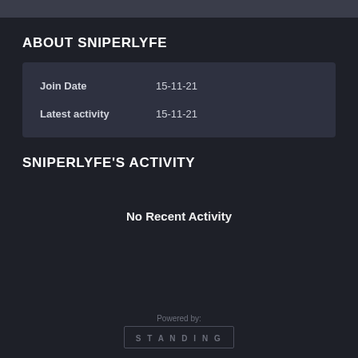ABOUT SNIPERLYFE
| Field | Value |
| --- | --- |
| Join Date | 15-11-21 |
| Latest activity | 15-11-21 |
SNIPERLYFE'S ACTIVITY
No Recent Activity
Powered by: STANDING